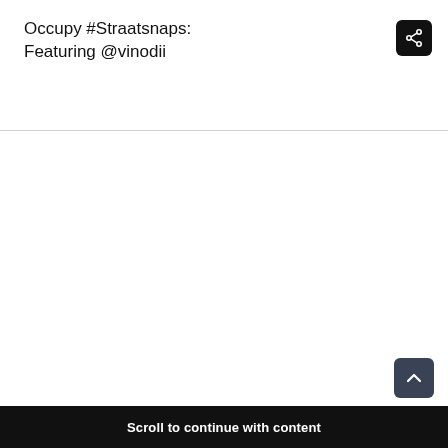Occupy #Straatsnaps: Featuring @vinodii
[Figure (screenshot): Share button icon (white share icon on black rounded square background)]
[Figure (screenshot): Large white/blank content area below the header divider]
[Figure (screenshot): Scroll to top button (up chevron icon on dark navy/charcoal rounded square)]
Scroll to continue with content